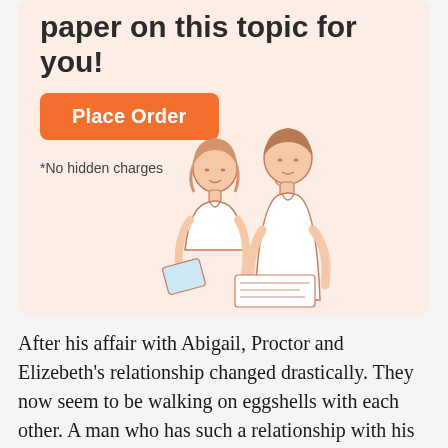paper on this topic for you!
Place Order
*No hidden charges
[Figure (illustration): Line drawing of a young woman and a young man looking at papers together, rendered in a minimal outline style with peach skin tones.]
After his affair with Abigail, Proctor and Elizebeth's relationship changed drastically. They now seem to be walking on eggshells with each other. A man who has such a relationship with his wife simply cannot be called a hero